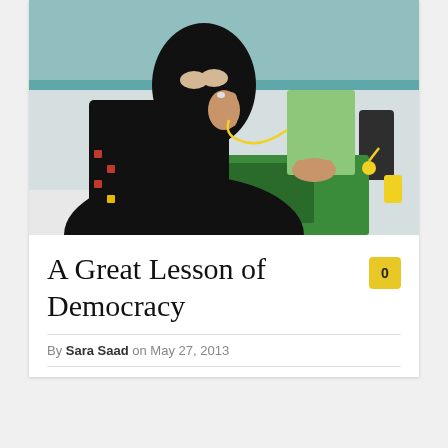[Figure (photo): A woman in black hijab and niqab inserting a green ballot paper into a green ballot box with yellow security seals, at a polling station.]
A Great Lesson of Democracy
By Sara Saad on May 27, 2013